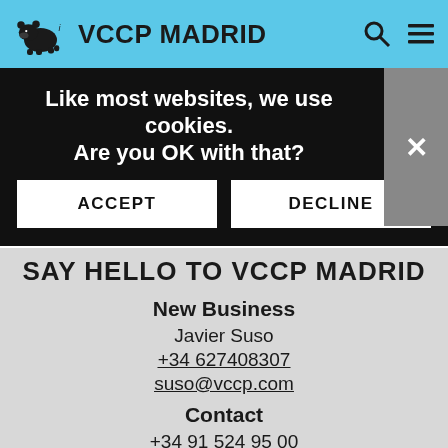VCCP MADRID
Like most websites, we use cookies. Are you OK with that?
ACCEPT
DECLINE
SAY HELLO TO VCCP MADRID
New Business
Javier Suso
+34 627408307
suso@vccp.com
Contact
+34 91 524 95 00
vccpspain@vccp.com